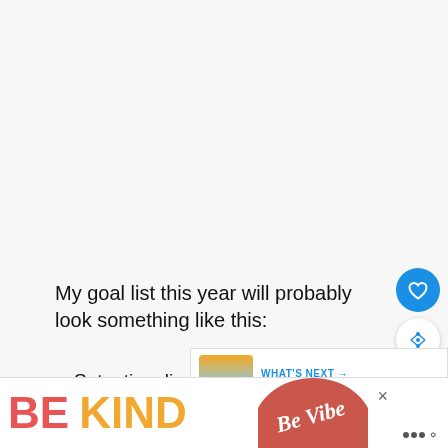My goal list this year will probably look something like this:
Set a time limit on Instagram use.
Write about a new topic/start a new series on
[Figure (screenshot): WHAT'S NEXT panel with thumbnail image of a lake/dock scene at sunset and text 'How to Balance...']
[Figure (screenshot): Ad banner at bottom showing 'BE KIND' in large colorful letters with decorative script overlay and close button]